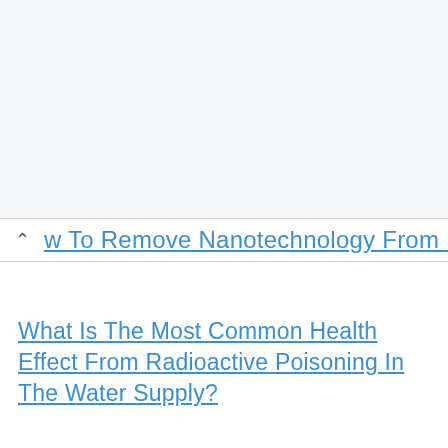[Figure (screenshot): Top area of a web page or browser UI with light gray background]
w To Remove Nanotechnology From Body
What Is The Most Common Health Effect From Radioactive Poisoning In The Water Supply?